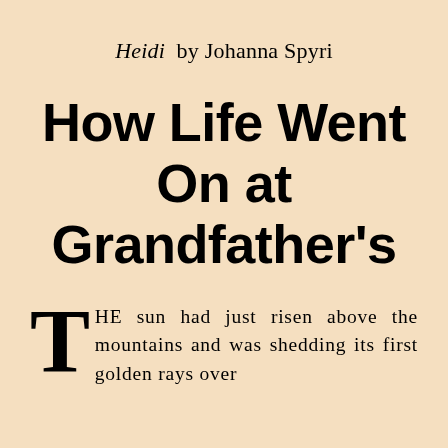Heidi by Johanna Spyri
How Life Went On at Grandfather's
THE sun had just risen above the mountains and was shedding its first golden rays over